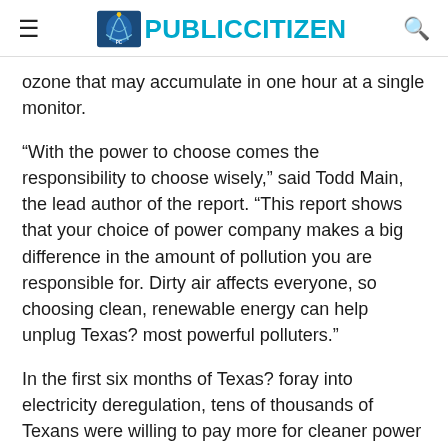PUBLIC CITIZEN
ozone that may accumulate in one hour at a single monitor.
“With the power to choose comes the responsibility to choose wisely,” said Todd Main, the lead author of the report. “This report shows that your choice of power company makes a big difference in the amount of pollution you are responsible for. Dirty air affects everyone, so choosing clean, renewable energy can help unplug Texas? most powerful polluters.”
In the first six months of Texas? foray into electricity deregulation, tens of thousands of Texans were willing to pay more for cleaner power and cleaner air, the groups found. Of the approximately 5.6 million Texas families that have the option of choosing a new power company, approximately 5 percent, or 50,000